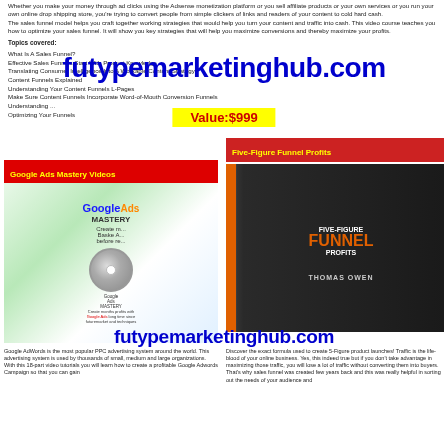Whether you make your money through ad clicks using the Adsense monetization platform or you sell affiliate products or your own services or you run your own online drop shipping store, you're trying to convert people from simple clickers of links and readers of your content to cold hard cash.
The sales funnel model helps you craft together working strategies that would help you turn your content and traffic into cash. This video course teaches you how to optimize your sales funnel. It will show you key strategies that will help you maximize conversions and thereby maximize your profits.
Topics covered:
What Is A Sales Funnel?
Effective Sales Funnels Start With Product Knowledge
Translating Consumer Intelligence Into A Workable Content Strategy
Content Funnels Explained
Understanding Your Content Funnels L-Pages
Make Sure Content Funnels Incorporate Word-of-Mouth Conversion Funnels
Understanding ...
Optimizing Your Funnels
[Figure (other): Watermark text overlay: futuremarketinghub.com in large blue bold font]
[Figure (other): Yellow highlighted box showing Value:$999]
[Figure (other): Red banner label: Google Ads Mastery Videos]
[Figure (other): Google Ads Mastery video course DVD box product image with disc]
[Figure (other): Red banner label: Five-Figure Funnel Profits]
[Figure (other): Five-Figure Funnel Profits book cover by Thomas Owen - dark cover with orange text]
[Figure (other): Watermark text overlay: futuremarketinghub.com in large blue bold font]
Google AdWords is the most popular PPC advertising system around the world. This advertising system is used by thousands of small, medium and large organizations.
With this 18-part video tutorials you will learn how to create a profitable Google Adwords Campaign so that you can gain
Discover the exact formula used to create 5-Figure product launches! Traffic is the life-blood of your online business. Yes, this indeed true but if you don't take advantage in maximizing those traffic, you will lose a lot of traffic without converting them into buyers. That's why sales funnel was created few years back and this was really helpful in sorting out the needs of your audience and